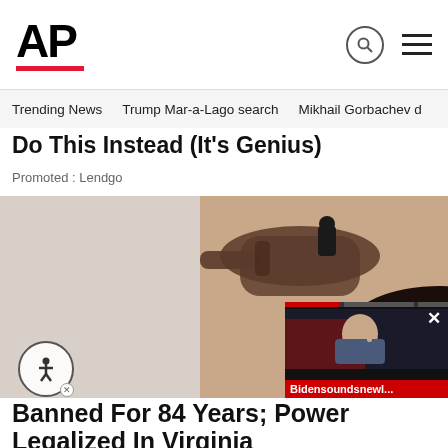AP
Trending News   Trump Mar-a-Lago search   Mikhail Gorbachev d
Do This Instead (It's Genius)
Promoted : Lendgo
[Figure (photo): Person holding keys over another person's mouth, with an overlaid video popup showing Biden with label 'Bidensoundsnewl...']
Banned For 84 Years; Power Legalized In Virginia